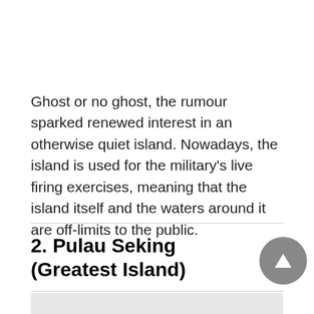Ghost or no ghost, the rumour sparked renewed interest in an otherwise quiet island. Nowadays, the island is used for the military's live firing exercises, meaning that the island itself and the waters around it are off-limits to the public.
2. Pulau Seking (Greatest Island)
[Figure (photo): Partial image at bottom of page, appears to be a photograph]